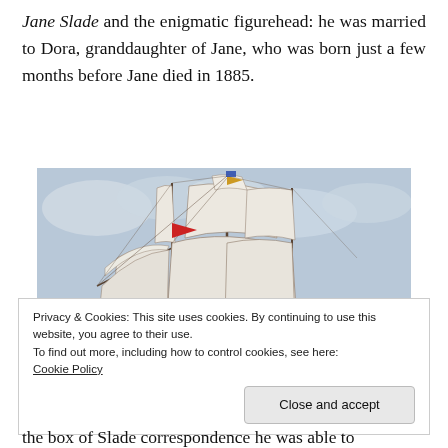Jane Slade and the enigmatic figurehead: he was married to Dora, granddaughter of Jane, who was born just a few months before Jane died in 1885.
[Figure (illustration): A painting of a tall-masted sailing ship with white sails billowing, flags flying from the masts, against a light blue sky background.]
Privacy & Cookies: This site uses cookies. By continuing to use this website, you agree to their use.
To find out more, including how to control cookies, see here:
Cookie Policy
Close and accept
the box of Slade correspondence he was able to